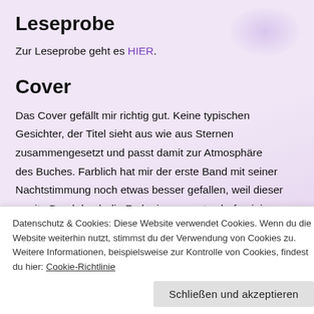Leseprobe
Zur Leseprobe geht es HIER.
Cover
Das Cover gefällt mir richtig gut. Keine typischen Gesichter, der Titel sieht aus wie aus Sternen zusammengesetzt und passt damit zur Atmosphäre des Buches. Farblich hat mir der erste Band mit seiner Nachtstimmung noch etwas besser gefallen, weil dieser zweite Band durch die Farbe insgesamt sehr feminin
Datenschutz & Cookies: Diese Website verwendet Cookies. Wenn du die Website weiterhin nutzt, stimmst du der Verwendung von Cookies zu. Weitere Informationen, beispielsweise zur Kontrolle von Cookies, findest du hier: Cookie-Richtlinie
Schließen und akzeptieren